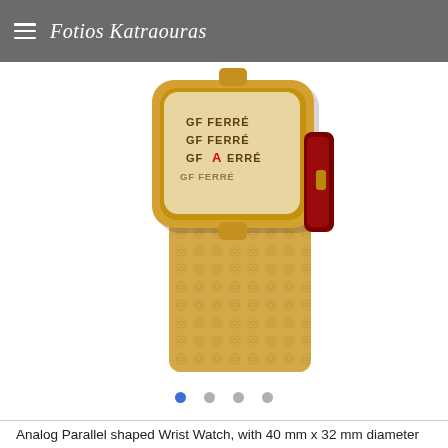Fotios Katraouras
[Figure (photo): GF Ferré analog parallel-shaped wrist watch with gold-colored rectangular case, patterned gold/beige strap, red lining visible, and red accent on the dial. The watch face shows 'GF FERRE' text repeated multiple times. The image is cropped showing the watch from an angle against a white background.]
Analog Parallel shaped Wrist Watch, with 40 mm x 32 mm diameter